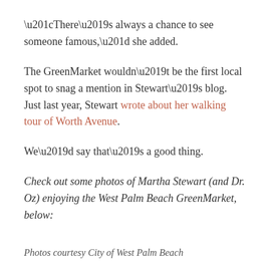“There’s always a chance to see someone famous,” she added.
The GreenMarket wouldn’t be the first local spot to snag a mention in Stewart’s blog. Just last year, Stewart wrote about her walking tour of Worth Avenue.
We’d say that’s a good thing.
Check out some photos of Martha Stewart (and Dr. Oz) enjoying the West Palm Beach GreenMarket, below:
Photos courtesy City of West Palm Beach